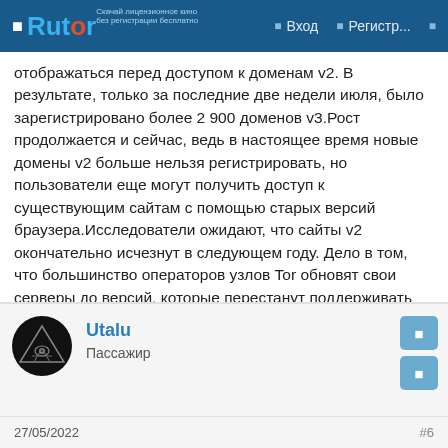Rutor | Вход | Регистр...
отображаться перед доступом к доменам v2. В результате, только за последние две недели июля, было зарегистрировано более 2 900 доменов v3.Рост продолжается и сейчас, ведь в настоящее время новые домены v2 больше нельзя регистрировать, но пользователи еще могут получить доступ к существующим сайтам с помощью старых версий браузера.Исследователи ожидают, что сайты v2 окончательно исчезнут в следующем году. Дело в том, что большинство операторов узлов Tor обновят свои серверы до версий, которые перестанут поддерживать домены v2 вовсе, а также не станет ретрансляторов Tor, способных маршрутизировать трафик на домены старого поколения.
Utalu
Пассажир
27/05/2022
#6